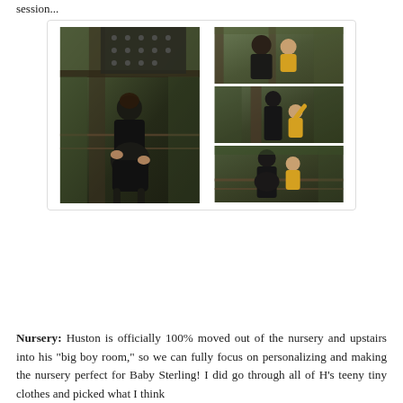session...
[Figure (photo): Photo collage of a family maternity session outdoors on a wooden bridge/deck area. Left column: a pregnant woman in a black dress holding her belly. Right column top: a man with a toddler in a yellow shirt outdoors. Right column middle: a woman holding a toddler in a yellow shirt near a tree. Right column bottom: a pregnant woman with a toddler in yellow near outdoor fencing.]
Nursery: Huston is officially 100% moved out of the nursery and upstairs into his "big boy room," so we can fully focus on personalizing and making the nursery perfect for Baby Sterling! I did go through all of H's teeny tiny clothes and picked what I think